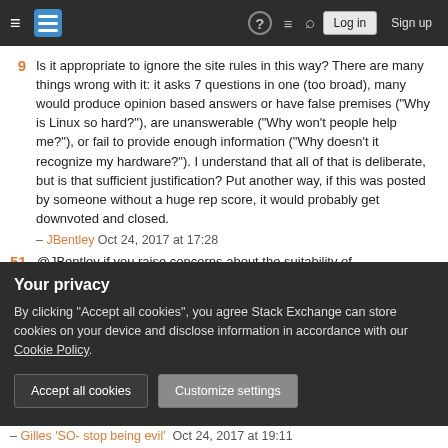Stack Exchange navigation bar with hamburger menu, logo, help, chat, search icons, Log in and Sign up buttons
Is it appropriate to ignore the site rules in this way? There are many things wrong with it: it asks 7 questions in one (too broad), many would produce opinion based answers or have false premises ("Why is Linux so hard?"), are unanswerable ("Why won't people help me?"), or fail to provide enough information ("Why doesn't it recognize my hardware?"). I understand that all of that is deliberate, but is that sufficient justification? Put another way, if this was posted by someone without a huge rep score, it would probably get downvoted and closed.
– JBentley Oct 24, 2017 at 17:28
Your privacy
By clicking "Accept all cookies", you agree Stack Exchange can store cookies on your device and disclose information in accordance with our Cookie Policy.
Accept all cookies  Customize settings
– Gilles 'SO- stop being evil' Oct 24, 2017 at 19:11